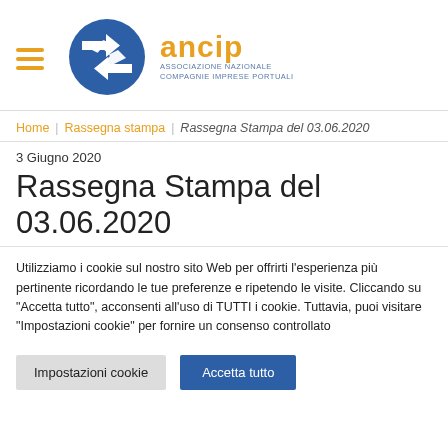[Figure (logo): ANCIP logo: circular blue graphic with stylized chain link arrow, beside text 'ancip' in orange and 'ASSOCIAZIONE NAZIONALE COMPAGNIE IMPRESE PORTUALI' in blue]
Home | Rassegna stampa | Rassegna Stampa del 03.06.2020
3 Giugno 2020
Rassegna Stampa del 03.06.2020
Utilizziamo i cookie sul nostro sito Web per offrirti l'esperienza più pertinente ricordando le tue preferenze e ripetendo le visite. Cliccando su "Accetta tutto", acconsenti all'uso di TUTTI i cookie. Tuttavia, puoi visitare "Impostazioni cookie" per fornire un consenso controllato
Impostazioni cookie | Accetta tutto